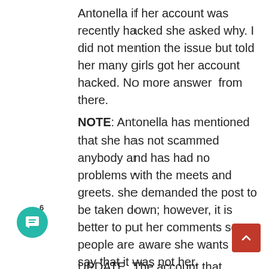Antonella if her account was recently hacked she asked why. I did not mention the issue but told her many girls got her account hacked. No more answer  from there.
NOTE: Antonella has mentioned that she has not scammed anybody and has had no problems with the meets and greets. she demanded the post to be taken down; however, it is better to put her comments so people are aware she wants to say that it was not her.
UPDATE: The account that contacted the fan was a fake account that replicated the activity of Antonella’s account. This account has been suspended. Please beware of fake accounts.